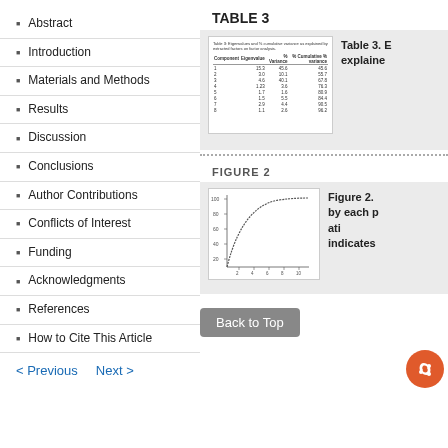Abstract
Introduction
Materials and Methods
Results
Discussion
Conclusions
Author Contributions
Conflicts of Interest
Funding
Acknowledgments
References
How to Cite This Article
< Previous   Next >
TABLE 3
[Figure (table-as-image): Small rendered thumbnail of Table 3 showing components, eigenvalues, % variance, and cumulative % variance]
Table 3. Eigenvalues and % cumulative variance explained
FIGURE 2
Back to Top
[Figure (continuous-plot): Scree plot or cumulative variance curve showing components on x-axis and variance explained on y-axis, with a curved line rising steeply then leveling off]
Figure 2. Variance explained by each principal component. indicates